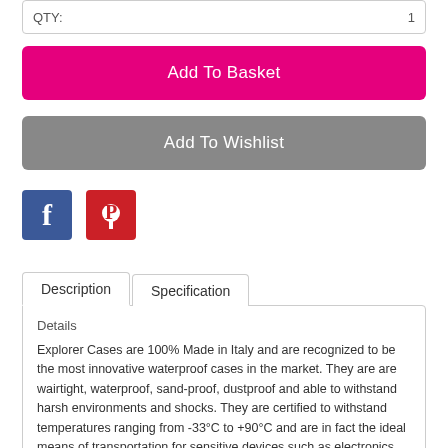QTY: 1
Add To Basket
Add To Wishlist
[Figure (logo): Facebook logo icon (blue background with white 'f')]
[Figure (logo): Pinterest logo icon (red background with white 'P')]
Description
Specification
Details
Explorer Cases are 100% Made in Italy and are recognized to be the most innovative waterproof cases in the market. They are are wairtight, waterproof, sand-proof, dustproof and able to withstand harsh environments and shocks. They are certified to withstand temperatures ranging from -33°C to +90°C and are in fact the ideal means of transportation for sensitive devices such as electronics, satellite communication equipment, GPS, cameras, and defence and military equipment.